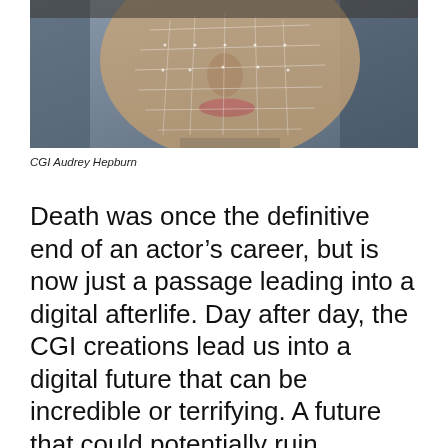[Figure (photo): Close-up photo of a woman's face with a CGI wireframe mesh overlay on her face, suggesting digital facial reconstruction. The image is partially cropped, showing mainly the nose, mouth, chin and cheek area. The background is blurred and muted gray-blue tones.]
CGI Audrey Hepburn
Death was once the definitive end of an actor's career, but is now just a passage leading into a digital afterlife. Day after day, the CGI creations lead us into a digital future that can be incredible or terrifying. A future that could potentially ruin authenticity or bring joy to fans. Whatever decision the future takes must be made in